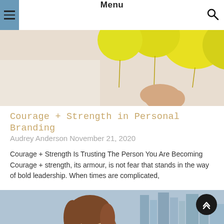Menu
[Figure (photo): Person holding yellow balloons against a light background, partial view showing hands and balloons from above]
Courage + Strength in Personal Branding
Audrey Anderson November 21, 2020
Courage + Strength Is Trusting The Person You Are Becoming Courage + strength, its armour, is not fear that stands in the way of bold leadership. When times are complicated,
Read More »
[Figure (photo): Woman looking upward with a city skyline in the background]